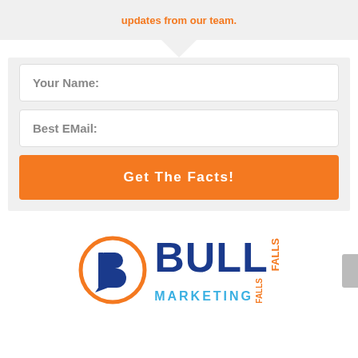updates from our team.
Your Name:
Best EMail:
Get The Facts!
[Figure (logo): Bull Falls Marketing logo with orange circle, stylized B letter, dark blue BULL text, blue MARKETING text, and orange FALLS text]